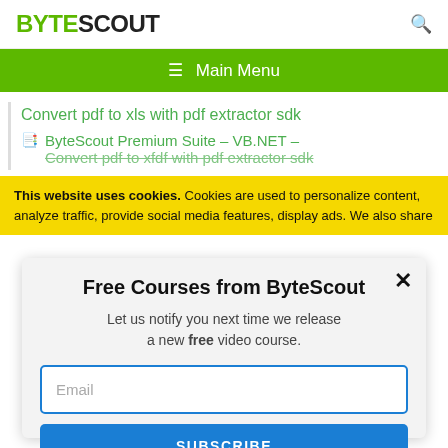BYTESCOUT
[Figure (screenshot): Green navigation bar with hamburger menu icon and 'Main Menu' text]
Convert pdf to xls with pdf extractor sdk
ByteScout Premium Suite – VB.NET – Convert pdf to xfdf with pdf extractor sdk
This website uses cookies. Cookies are used to personalize content, analyze traffic, provide social media features, display ads. We also share
Free Courses from ByteScout
Let us notify you next time we release a new free video course.
Email
SUBSCRIBE